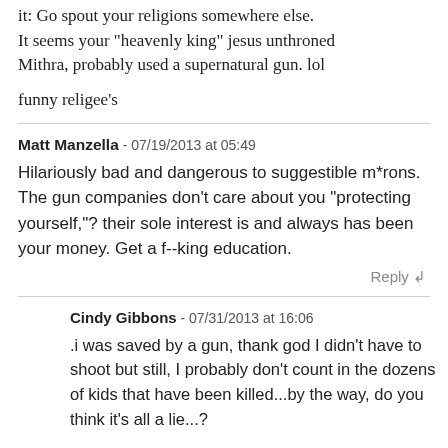it: Go spout your religions somewhere else. It seems your "heavenly king" jesus unthroned Mithra, probably used a supernatural gun. lol

funny religee's
Matt Manzella - 07/19/2013 at 05:49
Hilariously bad and dangerous to suggestible m*rons. The gun companies don't care about you "protecting yourself,"? their sole interest is and always has been your money. Get a f--king education.
Reply
Cindy Gibbons - 07/31/2013 at 16:06
.i was saved by a gun, thank god I didn't have to shoot but still, I probably don't count in the dozens of kids that have been killed...by the way, do you think it's all a lie...?